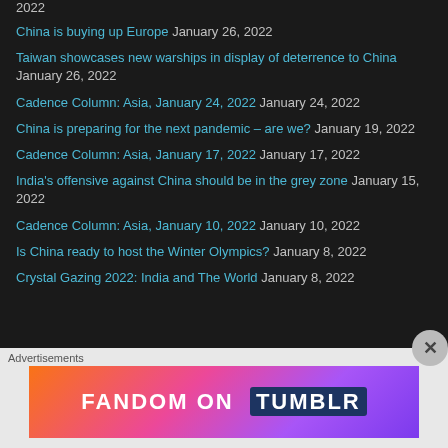2022
China is buying up Europe January 26, 2022
Taiwan showcases new warships in display of deterrence to China January 26, 2022
Cadence Column: Asia, January 24, 2022 January 24, 2022
China is preparing for the next pandemic – are we? January 19, 2022
Cadence Column: Asia, January 17, 2022 January 17, 2022
India's offensive against China should be in the grey zone January 15, 2022
Cadence Column: Asia, January 10, 2022 January 10, 2022
Is China ready to host the Winter Olympics? January 8, 2022
Crystal Gazing 2022: India and The World January 8, 2022
[Figure (advertisement): Fandom on Tumblr advertisement banner with colorful gradient background]